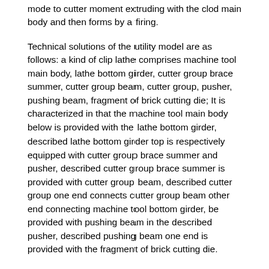mode to cutter moment extruding with the clod main body and then forms by a firing.
Technical solutions of the utility model are as follows: a kind of clip lathe comprises machine tool main body, lathe bottom girder, cutter group brace summer, cutter group beam, cutter group, pusher, pushing beam, fragment of brick cutting die; It is characterized in that the machine tool main body below is provided with the lathe bottom girder, described lathe bottom girder top is respectively equipped with cutter group brace summer and pusher, described cutter group brace summer is provided with cutter group beam, described cutter group one end connects cutter group beam other end connecting machine tool bottom girder, be provided with pushing beam in the described pusher, described pushing beam one end is provided with the fragment of brick cutting die.
Further, described cutter group is that some high tensile steel wires and lathe bottom girder, cutter group beam are formed by connecting.
The beneficial effects of the utility model are: can fast the standard clod be cut into some fragments of brick, forming